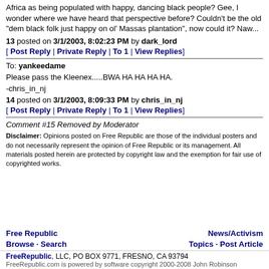Africa as being populated with happy, dancing black people? Gee, I wonder where we have heard that perspective before? Couldn't be the old "dem black folk just happy on ol' Massas plantation", now could it? Naw...
13 posted on 3/1/2003, 8:02:23 PM by dark_lord
[ Post Reply | Private Reply | To 1 | View Replies]
To: yankeedame
Please pass the Kleenex.....BWA HA HA HA HA.
-chris_in_nj
14 posted on 3/1/2003, 8:09:33 PM by chris_in_nj
[ Post Reply | Private Reply | To 1 | View Replies]
Comment #15 Removed by Moderator
Disclaimer: Opinions posted on Free Republic are those of the individual posters and do not necessarily represent the opinion of Free Republic or its management. All materials posted herein are protected by copyright law and the exemption for fair use of copyrighted works.
Free Republic   Browse · Search   News/Activism   Topics · Post Article
FreeRepublic, LLC, PO BOX 9771, FRESNO, CA 93794
FreeRepublic.com is powered by software copyright 2000-2008 John Robinson